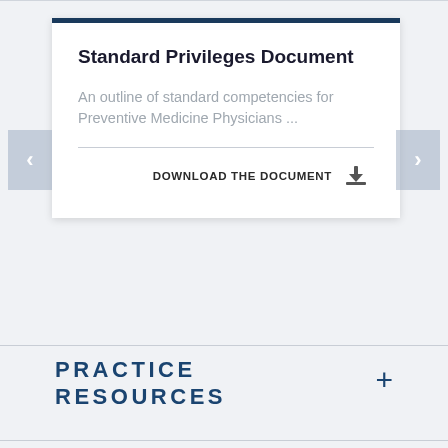Standard Privileges Document
An outline of standard competencies for Preventive Medicine Physicians ...
DOWNLOAD THE DOCUMENT
PRACTICE RESOURCES